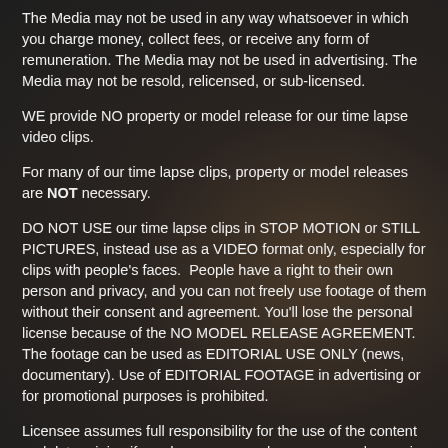The Media may not be used in any way whatsoever in which you charge money, collect fees, or receive any form of remuneration. The Media may not be used in advertising. The Media may not be resold, relicensed, or sub-licensed.
WE provide NO property or model release for our time lapse video clips.
For many of our time lapse clips, property or model releases are NOT necessary.
DO NOT USE our time lapse clips in STOP MOTION or STILL PICTURES, instead use as a VIDEO format only, especially for clips with people's faces.  People have a right to their own person and privacy, and you can not freely use footage of them without their consent and agreement. You'll lose the personal license because of the NO MODEL RELEASE AGREEMENT. The footage can be used as EDITORIAL USE ONLY (news, documentary). Use of EDITORIAL FOOTAGE in advertising or for promotional purposes is prohibited.
Licensee assumes full responsibility for the use of the content and determining if need one or more clearances or releases in connection with the use of our time lapse videos in any context.